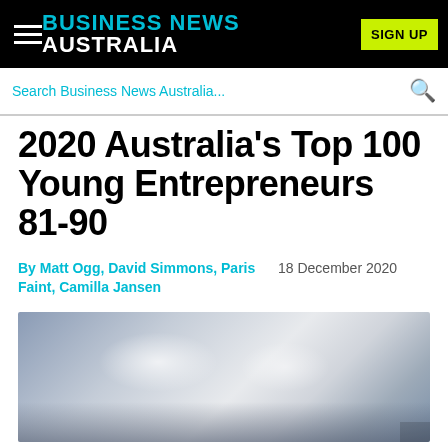BUSINESS NEWS AUSTRALIA
Search Business News Australia...
2020 Australia's Top 100 Young Entrepreneurs 81-90
By Matt Ogg, David Simmons, Paris Faint, Camilla Jansen   18 December 2020
[Figure (photo): Blurred/obscured photograph, likely showing people or a business setting, with soft grey and white tones.]